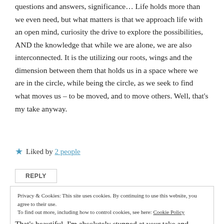questions and answers, significance… Life holds more than we even need, but what matters is that we approach life with an open mind, curiosity the drive to explore the possibilities, AND the knowledge that while we are alone, we are also interconnected. It is the utilizing our roots, wings and the dimension between them that holds us in a space where we are in the circle, while being the circle, as we seek to find what moves us – to be moved, and to move others. Well, that's my take anyway.
★ Liked by 2 people
REPLY
Privacy & Cookies: This site uses cookies. By continuing to use this website, you agree to their use. To find out more, including how to control cookies, see here: Cookie Policy
Close and accept
That's beautiful. I'm absolutely stunned at your take and